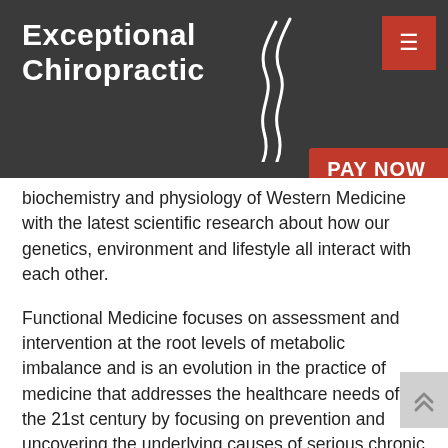[Figure (logo): Exceptional Chiropractic logo with spine graphic on dark grey background]
biochemistry and physiology of Western Medicine with the latest scientific research about how our genetics, environment and lifestyle all interact with each other.
Functional Medicine focuses on assessment and intervention at the root levels of metabolic imbalance and is an evolution in the practice of medicine that addresses the healthcare needs of the 21st century by focusing on prevention and uncovering the underlying causes of serious chronic disease.
Instead of suppressing symptoms, it deals with